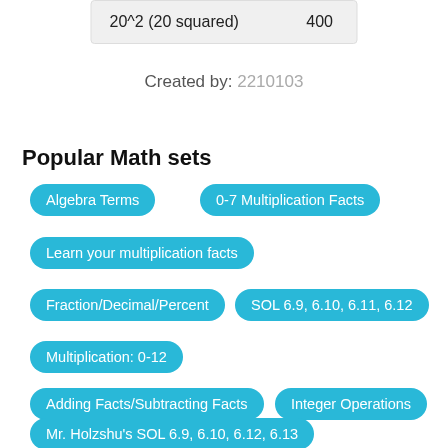| 20^2 (20 squared) | 400 |
Created by: 2210103
Popular Math sets
Algebra Terms
0-7 Multiplication Facts
Learn your multiplication facts
Fraction/Decimal/Percent
SOL 6.9, 6.10, 6.11, 6.12
Multiplication: 0-12
Adding Facts/Subtracting Facts
Integer Operations
SOL Math 6.1, 6.2, 6.3
Mr. Holzshu's SOL 6.9, 6.10, 6.12, 6.13